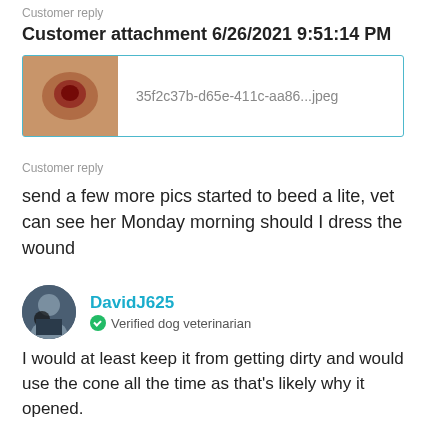Customer reply
Customer attachment 6/26/2021 9:51:14 PM
[Figure (screenshot): Attachment box showing a thumbnail image of a wound and filename: 35f2c37b-d65e-411c-aa86...jpeg]
Customer reply
send a few more pics started to beed a lite, vet can see her Monday morning should I dress the wound
DavidJ625
Verified dog veterinarian
I would at least keep it from getting dirty and would use the cone all the time as that's likely why it opened.